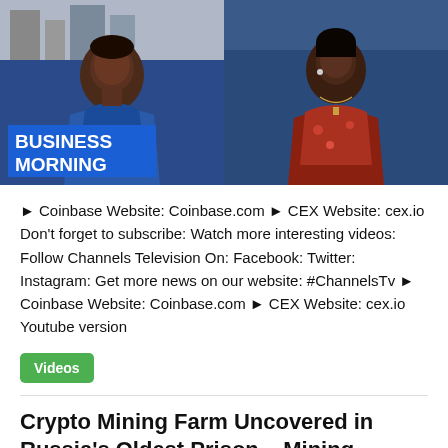[Figure (screenshot): TV screenshot showing two women on a show called 'Business Morning' on Channels Television. Left: older woman in blue patterned outfit with a 'BUSINESS MORNING' lower-third graphic. Right: younger woman in red floral dress.]
► Coinbase Website: Coinbase.com ► CEX Website: cex.io Don't forget to subscribe: Watch more interesting videos: Follow Channels Television On: Facebook: Twitter: Instagram: Get more news on our website: #ChannelsTv ► Coinbase Website: Coinbase.com ► CEX Website: cex.io Youtube version
Videos
Crypto Mining Farm Uncovered in Russia's Oldest Prison – Mining Bitcoin News